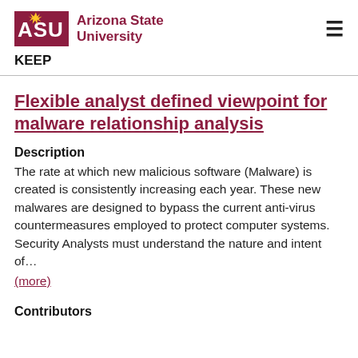Arizona State University | KEEP
Flexible analyst defined viewpoint for malware relationship analysis
Description
The rate at which new malicious software (Malware) is created is consistently increasing each year. These new malwares are designed to bypass the current anti-virus countermeasures employed to protect computer systems. Security Analysts must understand the nature and intent of…
(more)
Contributors